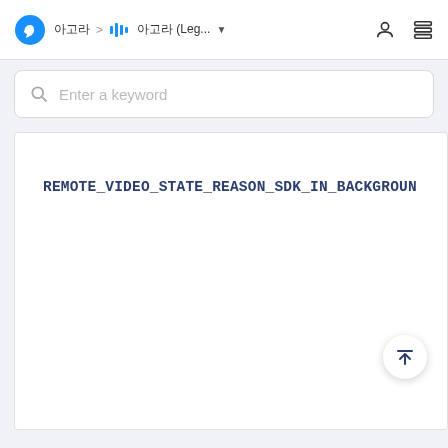아고라 > 음성통화 아고라 (Leg... ▼
Enter a keyword
REMOTE_VIDEO_STATE_REASON_SDK_IN_BACKGROUND